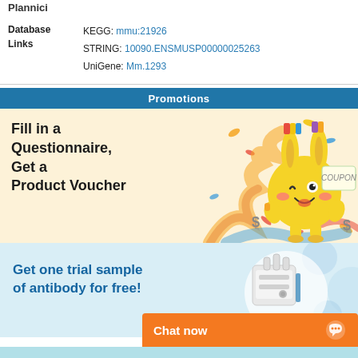Plannici
|  | Database Links |
| --- | --- |
| Database Links | KEGG: mmu:21926
STRING: 10090.ENSMUSP00000025263
UniGene: Mm.1293 |
Promotions
[Figure (illustration): Promotional banner with cartoon rabbit mascot holding coupons, text reads: Fill in a Questionnaire, Get a Product Voucher. Background is warm beige/yellow with confetti.]
[Figure (illustration): Promotional banner with light blue background showing laboratory equipment (tissue homogenizer), text reads: Get one trial sample of antibody for free!]
Chat now